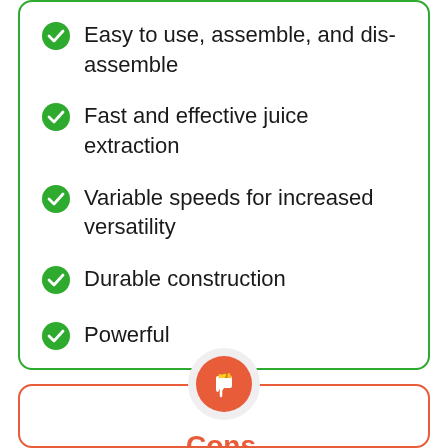Easy to use, assemble, and disassemble
Fast and effective juice extraction
Variable speeds for increased versatility
Durable construction
Powerful
Cons
Hard to clean
Loud